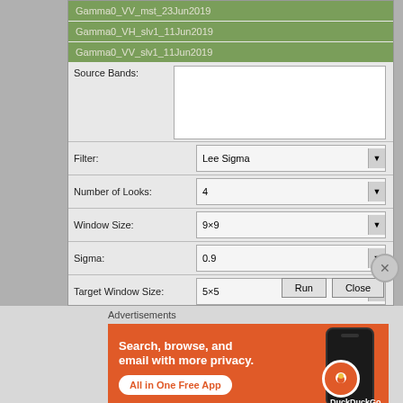[Figure (screenshot): Software dialog box showing SAR image processing filter settings. Contains a list with green-highlighted entries: Gamma0_VV_mst_23Jun2019, Gamma0_VH_slv1_11Jun2019, Gamma0_VV_slv1_11Jun2019. Below is a Source Bands empty input area. Parameters shown: Filter: Lee Sigma, Number of Looks: 4, Window Size: 9x9, Sigma: 0.9, Target Window Size: 5x5. Run and Close buttons at bottom right.]
Advertisements
[Figure (illustration): DuckDuckGo advertisement banner with orange background. Text: 'Search, browse, and email with more privacy.' and 'All in One Free App' button. Shows a phone with DuckDuckGo logo on the right side.]